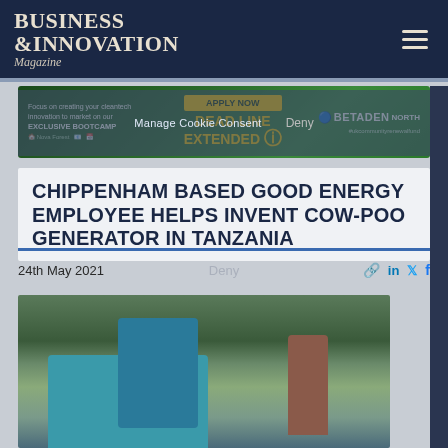BUSINESS & INNOVATION Magazine
[Figure (screenshot): Green advertisement banner for a cleantech bootcamp - 'APPLY NOW DEADLINE EXTENDED' with BETADEN NORTH branding and #ukcommunityrenewalfund hashtag]
CHIPPENHAM BASED GOOD ENERGY EMPLOYEE HELPS INVENT COW-POO GENERATOR IN TANZANIA
24th May 2021
Deny
[Figure (photo): Outdoor photograph showing blue plastic containers/barrels and a person in a checkered shirt standing among equipment, surrounded by trees and a stone wall, in Tanzania]